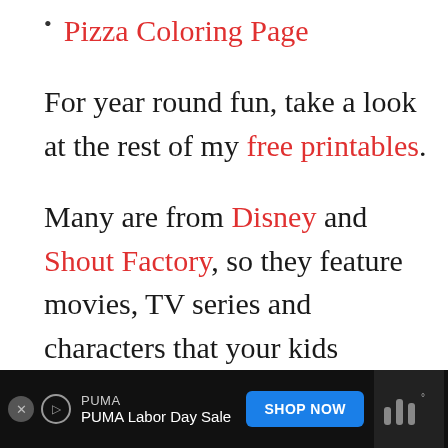Pizza Coloring Page
For year round fun, take a look at the rest of my free printables.
Many are from Disney and Shout Factory, so they feature movies, TV series and characters that your kids already know and love.
[Figure (other): Advertisement banner at bottom: PUMA Labor Day Sale with blue SHOP NOW button and media logo on dark background]